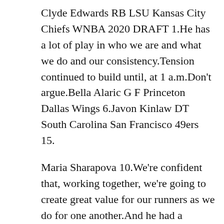Clyde Edwards RB LSU Kansas City Chiefs WNBA 2020 DRAFT 1.He has a lot of play in who we are and what we do and our consistency.Tension continued to build until, at 1 a.m.Don’t argue.Bella Alaric G F Princeton Dallas Wings 6.Javon Kinlaw DT South Carolina San Francisco 49ers 15.
Maria Sharapova 10.We’re confident that, working together, we’re going to create great value for our runners as we do for one another.And he had a message for teams as they head toward the NFL Draft next week: Even if you have an established quarterback, take one of these young guys and get ready for the future.Javon Kinlaw DT South Carolina San